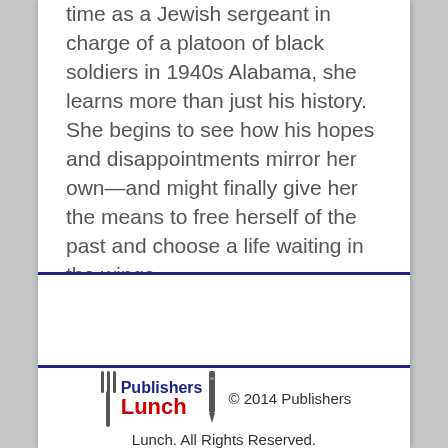time as a Jewish sergeant in charge of a platoon of black soldiers in 1940s Alabama, she learns more than just his history. She begins to see how his hopes and disappointments mirror her own—and might finally give her the means to free herself of the past and choose a life waiting in the wings.
[Figure (logo): Publishers Lunch logo with fork and pen icons, blue 'Publishers' text and red 'Lunch' text]
© 2014 Publishers Lunch. All Rights Reserved.